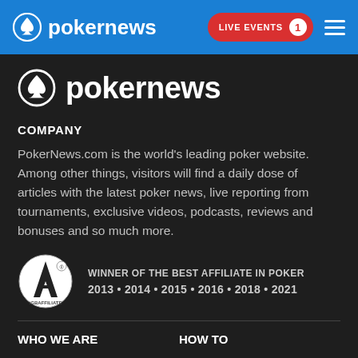pokernews — LIVE EVENTS 1
[Figure (logo): PokerNews logo with spade icon in large white text on dark background]
COMPANY
PokerNews.com is the world's leading poker website. Among other things, visitors will find a daily dose of articles with the latest poker news, live reporting from tournaments, exclusive videos, podcasts, reviews and bonuses and so much more.
[Figure (logo): iGBAffiliate award badge — WINNER OF THE BEST AFFILIATE IN POKER 2013 • 2014 • 2015 • 2016 • 2018 • 2021]
WHO WE ARE
HOW TO
Contact Us
Poker Rooms Reviews